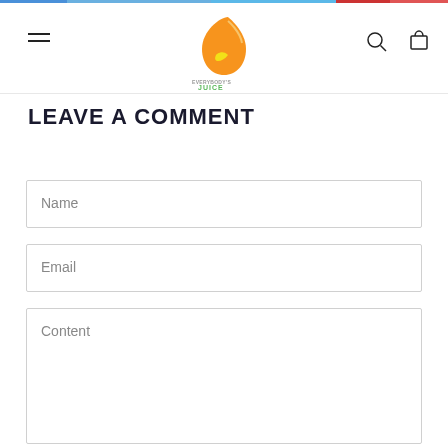[Figure (logo): Everybody's Juice logo with orange and yellow leaf/drop shapes and green text reading EVERYBODY'S JUICE]
LEAVE A COMMENT
Name
Email
Content